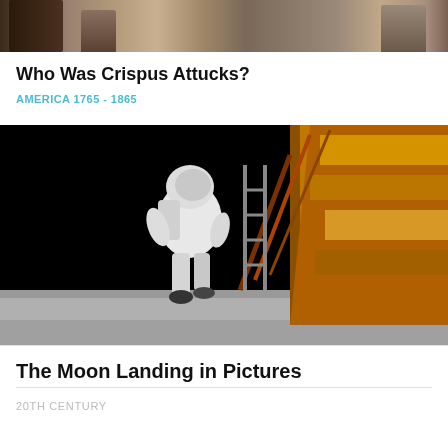[Figure (photo): Top portion of a mural or painting showing figures in historical attire, partially cropped]
Who Was Crispus Attucks?
AMERICA 1765 - 1865
[Figure (photo): An astronaut in a spacesuit descending a ladder from the lunar module onto the Moon's surface during the Moon landing]
The Moon Landing in Pictures
20TH CENTURY